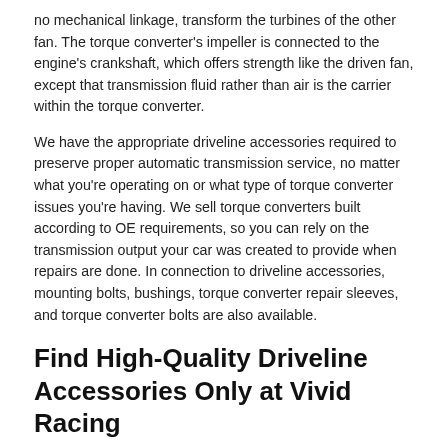no mechanical linkage, transform the turbines of the other fan. The torque converter's impeller is connected to the engine's crankshaft, which offers strength like the driven fan, except that transmission fluid rather than air is the carrier within the torque converter.
We have the appropriate driveline accessories required to preserve proper automatic transmission service, no matter what you're operating on or what type of torque converter issues you're having. We sell torque converters built according to OE requirements, so you can rely on the transmission output your car was created to provide when repairs are done. In connection to driveline accessories, mounting bolts, bushings, torque converter repair sleeves, and torque converter bolts are also available.
Find High-Quality Driveline Accessories Only at Vivid Racing
From fitment help from our in-house experts to shipping packages, we'll take care of you and your Driveline Accessories every step of the way. We know how much of a financial investment you're making in a set of Driveline Accessories and upgrades. In return, we'll deliver service and product that is second to none.